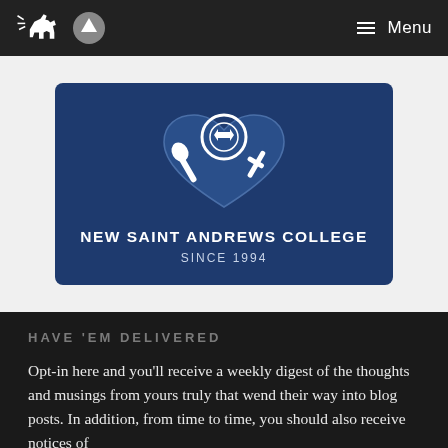Menu
[Figure (logo): New Saint Andrews College logo on dark blue background, showing a shield/crest with crossed implements, text: NEW SAINT ANDREWS COLLEGE, SINCE 1994]
HAVE 'EM DELIVERED
Opt-in here and you'll receive a weekly digest of the thoughts and musings from yours truly that wend their way into blog posts. In addition, from time to time, you should also receive notices of